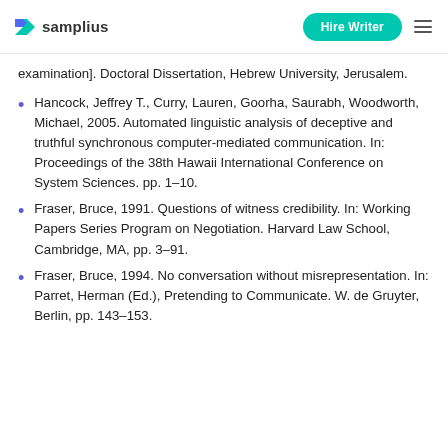samplius | Hire Writer
examination]. Doctoral Dissertation, Hebrew University, Jerusalem.
Hancock, Jeffrey T., Curry, Lauren, Goorha, Saurabh, Woodworth, Michael, 2005. Automated linguistic analysis of deceptive and truthful synchronous computer-mediated communication. In: Proceedings of the 38th Hawaii International Conference on System Sciences. pp. 1–10.
Fraser, Bruce, 1991. Questions of witness credibility. In: Working Papers Series Program on Negotiation. Harvard Law School, Cambridge, MA, pp. 3–91.
Fraser, Bruce, 1994. No conversation without misrepresentation. In: Parret, Herman (Ed.), Pretending to Communicate. W. de Gruyter, Berlin, pp. 143–153.